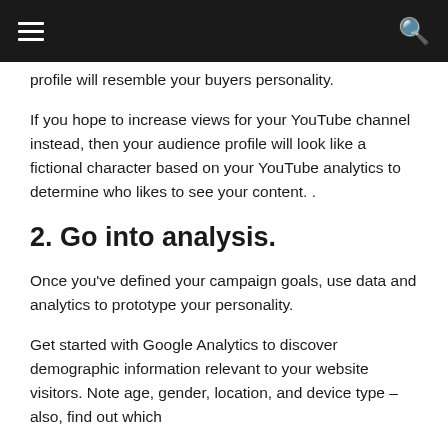[navigation bar with menu and search icons]
profile will resemble your buyers personality.
If you hope to increase views for your YouTube channel instead, then your audience profile will look like a fictional character based on your YouTube analytics to determine who likes to see your content. .
2. Go into analysis.
Once you’ve defined your campaign goals, use data and analytics to prototype your personality.
Get started with Google Analytics to discover demographic information relevant to your website visitors. Note age, gender, location, and device type – also, find out which